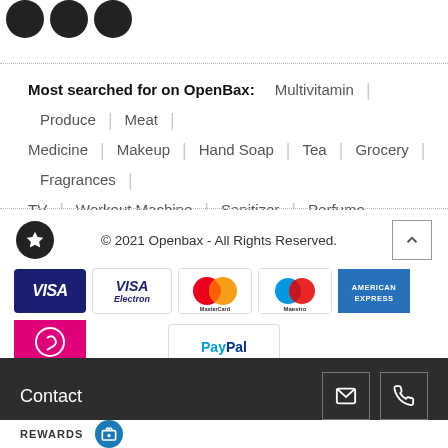[Figure (other): Three dark circular icons at top left]
Most searched for on OpenBax: Multivitamin | Produce | Meat | Medicine | Makeup | Hand Soap | Tea | Grocery | Fragrances | TV | Workout Machine | Sanitizer | Perfume ... More
© 2021 Openbax - All Rights Reserved.
[Figure (other): Payment method icons: VISA, Visa Electron, MasterCard, Maestro, American Express, and a pink payment icon]
[Figure (other): PayPal payment option card]
Contact
REWARDS